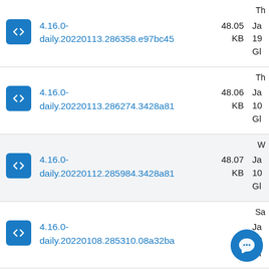4.16.0-daily.20220113.286358.e97bc45 48.05 KB Ja 19 Gl
4.16.0-daily.20220113.286274.3428a81 48.06 KB Ja 10 Gl
4.16.0-daily.20220112.285984.3428a81 48.07 KB Ja 10 Gl
4.16.0-daily.20220108.285310.08a32ba Ja 10 Gl